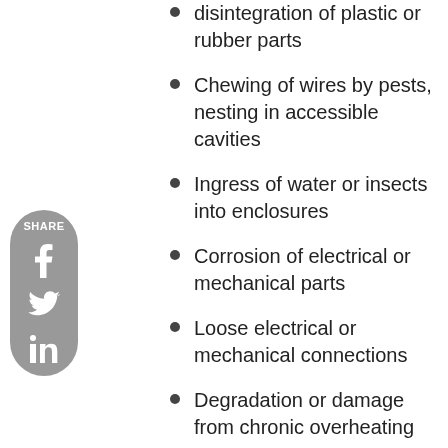disintegration of plastic or rubber parts
Chewing of wires by pests, nesting in accessible cavities
Ingress of water or insects into enclosures
Corrosion of electrical or mechanical parts
Loose electrical or mechanical connections
Degradation or damage from chronic overheating
Component Issues
Solar Array